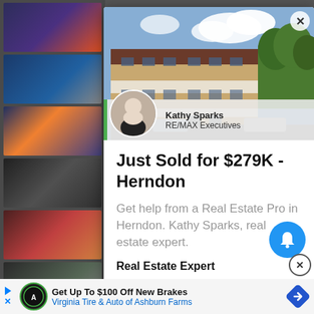[Figure (screenshot): Screenshot of a webpage with a real estate advertisement popup. The popup shows a property photo of a multi-story brick apartment building in Herndon with the agent Kathy Sparks from RE/MAX Executives overlaid. Below the photo, the ad reads 'Just Sold for $279K - Herndon' with body text 'Get help from a Real Estate Pro in Herndon. Kathy Sparks, real estate expert.' and a CTA 'Real Estate Expert'. A blue bell notification button appears in the lower right. A bottom banner advertises 'Get Up To $100 Off New Brakes - Virginia Tire & Auto of Ashburn Farms'. The background shows a news feed with thumbnail images.]